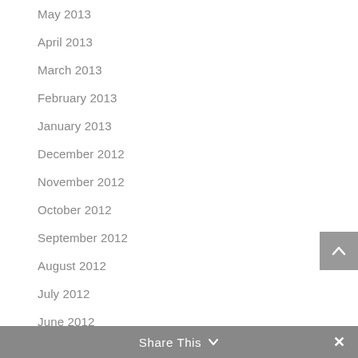May 2013
April 2013
March 2013
February 2013
January 2013
December 2012
November 2012
October 2012
September 2012
August 2012
July 2012
June 2012
May 2012
April 2012
March 2012
Share This ∨  ×